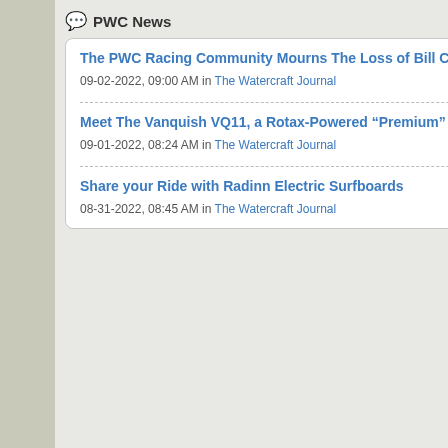PWC News
The PWC Racing Community Mourns The Loss of Bill Chapin
09-02-2022, 09:00 AM in The Watercraft Journal
Meet The Vanquish VQ11, a Rotax-Powered “Premium” PWC
09-01-2022, 08:24 AM in The Watercraft Journal
Share your Ride with Radinn Electric Surfboards
08-31-2022, 08:45 AM in The Watercraft Journal
07-23-2007, 05:45 PM
Metal Mike
[Figure (photo): Photo of a boat on water, Metal Mike's avatar]
Join Date: Jun 2007
Location: germantown, W
Posts: 29
07-23-2007, 05:46 PM
Dark_viper42
[Figure (photo): Photo of a watercraft on water, Dark_viper42's avatar]